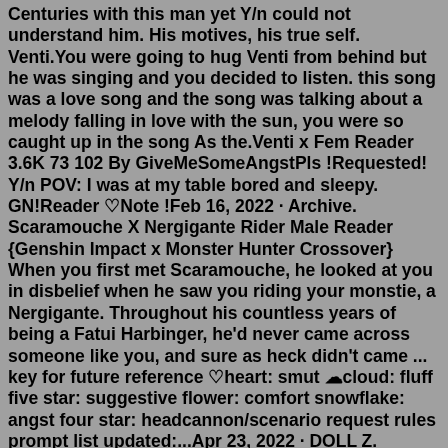Centuries with this man yet Y/n could not understand him. His motives, his true self. Venti.You were going to hug Venti from behind but he was singing and you decided to listen. this song was a love song and the song was talking about a melody falling in love with the sun, you were so caught up in the song As the.Venti x Fem Reader 3.6K 73 102 By GiveMeSomeAngstPls !Requested! Y/n POV: I was at my table bored and sleepy. GN!Reader ♡♡Note !Feb 16, 2022 · Archive. Scaramouche X Nergigante Rider Male Reader {Genshin Impact x Monster Hunter Crossover} When you first met Scaramouche, he looked at you in disbelief when he saw you riding your monstie, a Nergigante. Throughout his countless years of being a Fatui Harbinger, he'd never came across someone like you, and sure as heck didn't came ... key for future reference ♡heart: smut ☁cloud: fluff five star: suggestive flower: comfort snowflake: angst four star: headcannon/scenario request rules prompt list updated:...Apr 23, 2022 · DOLL Z. scaramouche x gn! reader || short fluff. includes: